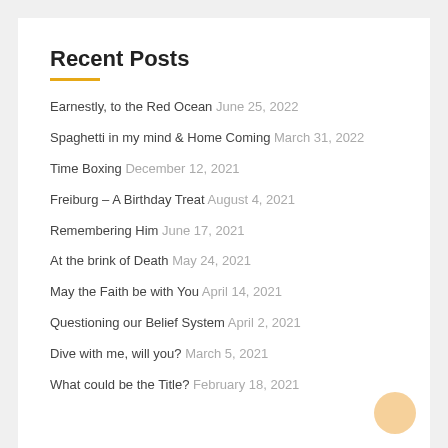Recent Posts
Earnestly, to the Red Ocean June 25, 2022
Spaghetti in my mind & Home Coming March 31, 2022
Time Boxing December 12, 2021
Freiburg – A Birthday Treat August 4, 2021
Remembering Him June 17, 2021
At the brink of Death May 24, 2021
May the Faith be with You April 14, 2021
Questioning our Belief System April 2, 2021
Dive with me, will you? March 5, 2021
What could be the Title? February 18, 2021